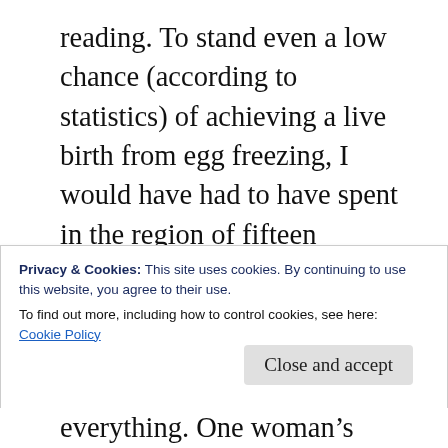reading. To stand even a low chance (according to statistics) of achieving a live birth from egg freezing, I would have had to have spent in the region of fifteen thousand pounds so that I could have had three cycles of ovarian stimulation over the course of a few months, requiring me to inject hormones for every cycle. Assuming I'd produce roughly the same number of eggs each time, this would have resulted in about twenty one healthy eggs. Using the same maths above, this would have
Privacy & Cookies: This site uses cookies. By continuing to use this website, you agree to their use.
To find out more, including how to control cookies, see here: Cookie Policy
everything. One woman's chances of success